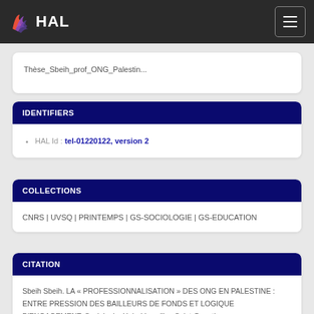HAL
Thèse_Sbeih_prof_ONG_Palestin...
IDENTIFIERS
HAL Id : tel-01220122, version 2
COLLECTIONS
CNRS | UVSQ | PRINTEMPS | GS-SOCIOLOGIE | GS-EDUCATION
CITATION
Sbeih Sbeih. LA « PROFESSIONNALISATION » DES ONG EN PALESTINE : ENTRE PRESSION DES BAILLEURS DE FONDS ET LOGIQUE D'ENGAGEMENT. Sociologie. Univ. Versailles Saint-Quentin...